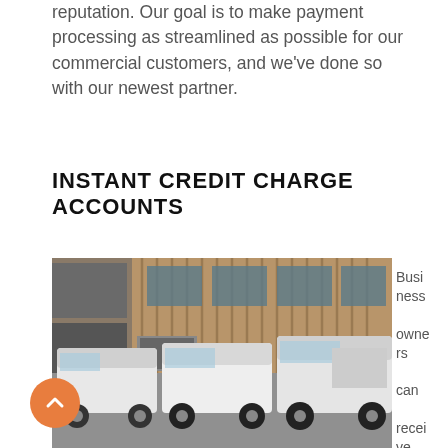reputation. Our goal is to make payment processing as streamlined as possible for our commercial customers, and we've done so with our newest partner.
INSTANT CREDIT CHARGE ACCOUNTS
[Figure (photo): Three white commercial vans parked in front of a modern building with wood cladding and large windows]
Business owners can receive